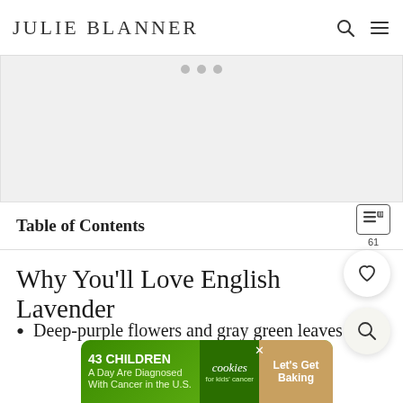JULIE BLANNER
[Figure (photo): Image placeholder area with three dots indicating a carousel of images]
Table of Contents
Why You'll Love English Lavender
Deep-purple flowers and gray green leaves
[Figure (infographic): Advertisement banner: '43 CHILDREN A Day Are Diagnosed With Cancer in the U.S.' with cookies for kids' cancer logo and 'Let's Get Baking' text]